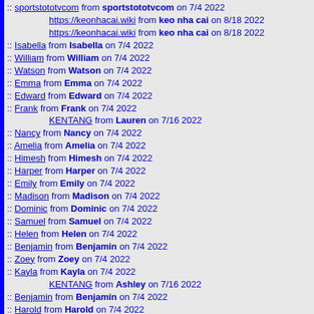:: sportstototvcom from sportstototvcom on 7/4 2022
https://keonhacai.wiki from keo nha cai on 8/18 2022
https://keonhacai.wiki from keo nha cai on 8/18 2022
:: Isabella from Isabella on 7/4 2022
:: William from William on 7/4 2022
:: Watson from Watson on 7/4 2022
:: Emma from Emma on 7/4 2022
:: Edward from Edward on 7/4 2022
:: Frank from Frank on 7/4 2022
KENTANG from Lauren on 7/16 2022
:: Nancy from Nancy on 7/4 2022
:: Amelia from Amelia on 7/4 2022
:: Himesh from Himesh on 7/4 2022
:: Harper from Harper on 7/4 2022
:: Emily from Emily on 7/4 2022
:: Madison from Madison on 7/4 2022
:: Dominic from Dominic on 7/4 2022
:: Samuel from Samuel on 7/4 2022
:: Helen from Helen on 7/4 2022
:: Benjamin from Benjamin on 7/4 2022
:: Zoey from Zoey on 7/4 2022
:: Kayla from Kayla on 7/4 2022
KENTANG from Ashley on 7/16 2022
:: Benjamin from Benjamin on 7/4 2022
:: Harold from Harold on 7/4 2022
:: Jacqueline from Jacqueline on 7/4 2022
:: Jacob from Jacob on 7/4 2022
:: Jack from Jack on 7/4 2022
:: Terry from Terry on 7/4 2022
:: Micheal from Micheal on 7/4 2022